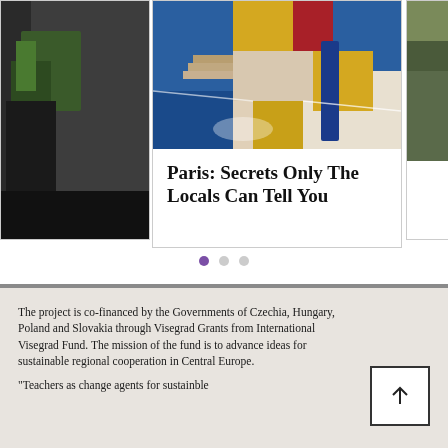[Figure (photo): Carousel of travel article cards. Left partial card shows greenery/dark photo. Center card shows a colorfully painted basketball court in Paris with blue, yellow, red colors. Right partial card is partially visible. Center card has title 'Paris: Secrets Only The Locals Can Tell You'.]
Paris: Secrets Only The Locals Can Tell You
[Figure (infographic): Three pagination dots, first one in purple/active, two in grey]
The project is co-financed by the Governments of Czechia, Hungary, Poland and Slovakia through Visegrad Grants from International Visegrad Fund. The mission of the fund is to advance ideas for sustainable regional cooperation in Central Europe.
"Teachers as change agents for sustainble